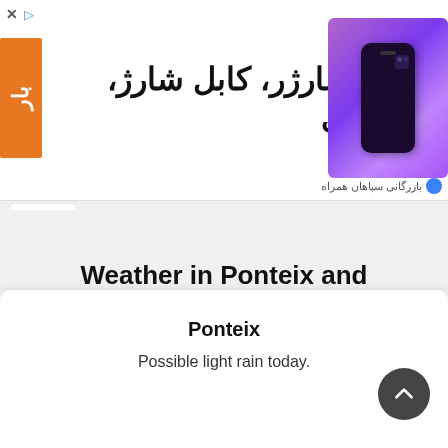[Figure (illustration): Advertisement banner for a Persian/Farsi mobile accessories store. Shows an orange label with Farsi text 'بار', large Farsi text 'گلس، شارژر، کابل شارژ، هندزفری', and a purple iPhone image on the right with seller name 'بازرگانی سپاهان همراه'.]
Weather in Ponteix and Asbestos
Compare the weather today and the next four days in Ponteix, SK and Asbestos, QC:
Ponteix
Possible light rain today.